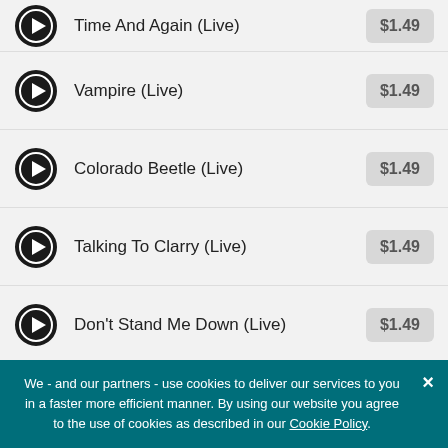Time And Again (Live) $1.49
Vampire (Live) $1.49
Colorado Beetle (Live) $1.49
Talking To Clarry (Live) $1.49
Don't Stand Me Down (Live) $1.49
Slight Return (Live) $1.49
We - and our partners - use cookies to deliver our services to you in a faster more efficient manner. By using our website you agree to the use of cookies as described in our Cookie Policy.